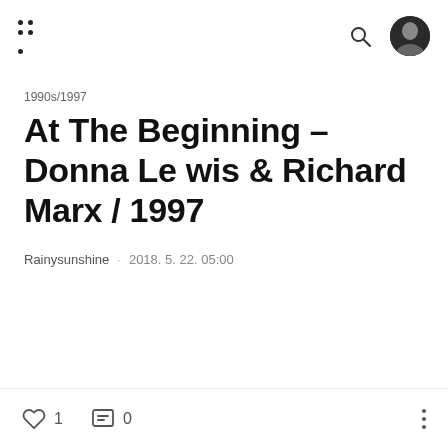Navigation menu icon, search icon, user avatar
1990s/1997
At The Beginning – Donna Lewis & Richard Marx / 1997
Rainysunshine · 2018. 5. 22. 05:00
♡ 1  💬 0  ···